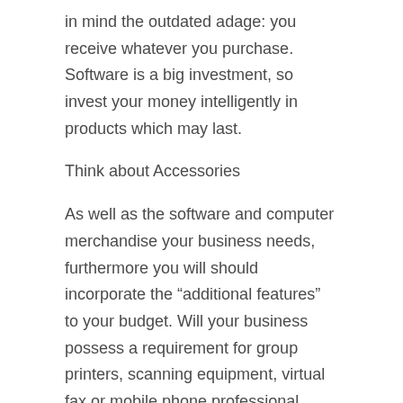in mind the outdated adage: you receive whatever you purchase. Software is a big investment, so invest your money intelligently in products which may last.
Think about Accessories
As well as the software and computer merchandise your business needs, furthermore you will should incorporate the “additional features” to your budget. Will your business possess a requirement for group printers, scanning equipment, virtual fax or mobile phone professional services? If they meet your business needs, these technology extras can add considerably to your costs, so consider all-in-one products.
Investing In Technological innovation